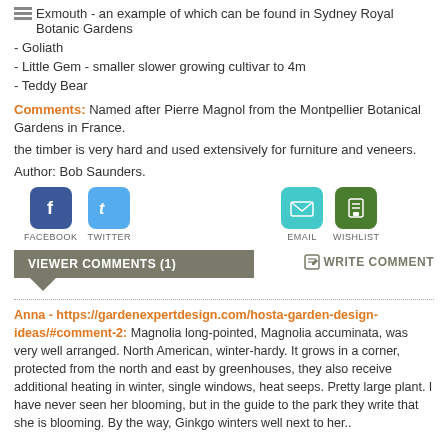Exmouth - an example of which can be found in Sydney Royal Botanic Gardens
- Goliath
- Little Gem - smaller slower growing cultivar to 4m
- Teddy Bear
Comments: Named after Pierre Magnol from the Montpellier Botanical Gardens in France.
the timber is very hard and used extensively for furniture and veneers.
Author: Bob Saunders.
[Figure (infographic): Social sharing buttons: Facebook (blue), Twitter (light blue), Email (teal), Wishlist (green)]
VIEWER COMMENTS (1)
WRITE COMMENT
Anna - https://gardenexpertdesign.com/hosta-garden-design-ideas/#comment-2: Magnolia long-pointed, Magnolia accuminata, was very well arranged. North American, winter-hardy. It grows in a corner, protected from the north and east by greenhouses, they also receive additional heating in winter, single windows, heat seeps. Pretty large plant. I have never seen her blooming, but in the guide to the park they write that she is blooming. By the way, Ginkgo winters well next to her..